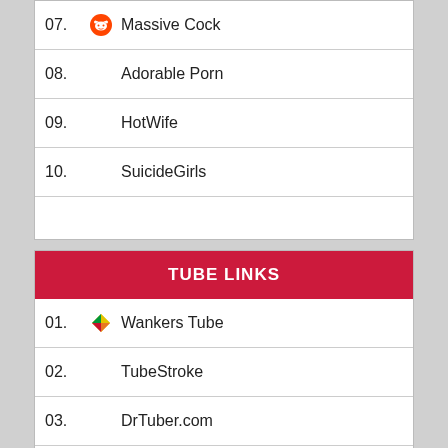07. Massive Cock
08. Adorable Porn
09. HotWife
10. SuicideGirls
TUBE LINKS
01. Wankers Tube
02. TubeStroke
03. DrTuber.com
04. xHamster
05. xVideos.com
06. MadThumbs
07. Porn300
08. XBabe.com